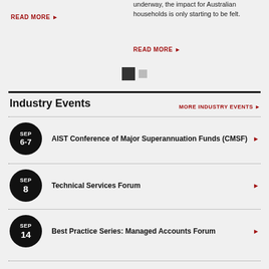READ MORE
underway, the impact for Australian households is only starting to be felt.
READ MORE
[Figure (infographic): Navigation dots: one active (dark filled square) and one inactive (grey square)]
Industry Events
MORE INDUSTRY EVENTS
SEP 6-7 — AIST Conference of Major Superannuation Funds (CMSF)
SEP 8 — Technical Services Forum
SEP 14 — Best Practice Series: Managed Accounts Forum